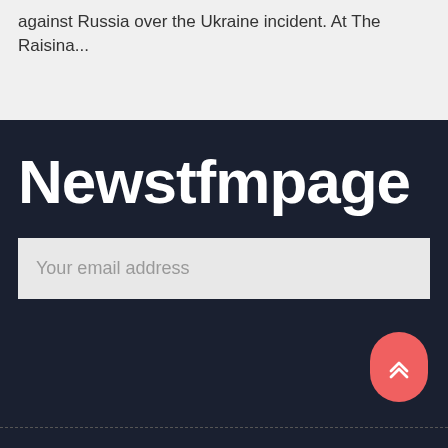against Russia over the Ukraine incident. At The Raisina...
Newstfmpage
Your email address
[Figure (illustration): Red rounded scroll-to-top button with double chevron up arrow icon]